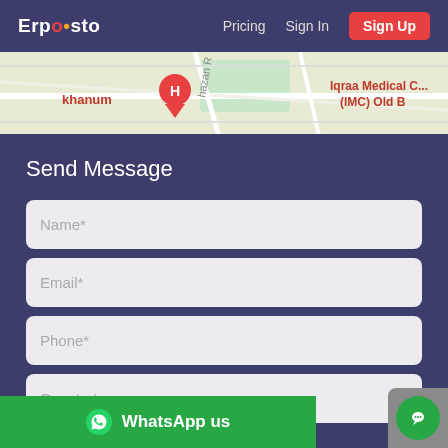Erpesto   Pricing   Sign In   Sign Up
[Figure (map): Partial Google Maps view showing 'khanum' with a red location pin marked H, street label 'hazan R', and 'Iqraa Medical C... (IMC) Old B' on the right side]
Send Message
Name*
Email*
Phone*
Country*
WhatsApp us